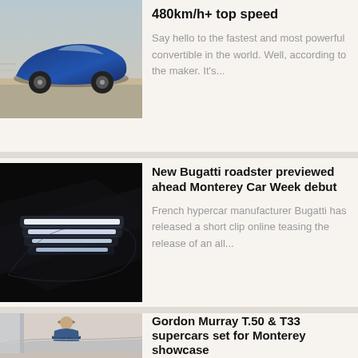[Figure (photo): Blue convertible supercar moving on track]
480km/h+ top speed
Say hello to the fastest and most powerful convertible in the world. Well, according to the maker. It's...
[Figure (photo): Teaser image of Bugatti roadster showing headlight light strips on dark background]
New Bugatti roadster previewed ahead Monterey Car Week debut
French hypercar manufacturer Bugatti has released a short clip online teasing the release of an all...
[Figure (photo): Gordon Murray standing with arms crossed next to a silver supercar]
Gordon Murray T.50 & T33 supercars set for Monterey showcase